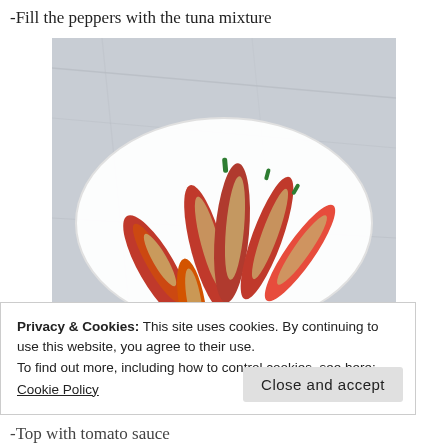-Fill the peppers with the tuna mixture
[Figure (photo): Red peppers filled with tuna mixture arranged in a white oval dish on a marble surface]
Privacy & Cookies: This site uses cookies. By continuing to use this website, you agree to their use.
To find out more, including how to control cookies, see here:
Cookie Policy
-Top with tomato sauce